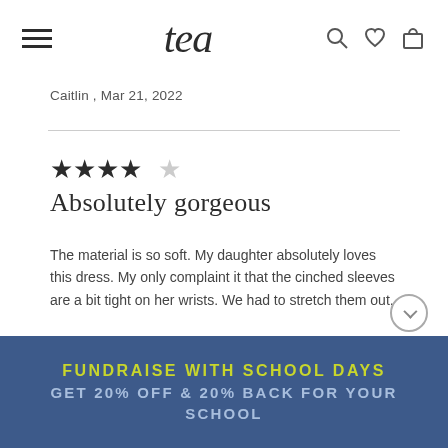tea
Caitlin , Mar 21, 2022
★★★★☆ Absolutely gorgeous
The material is so soft. My daughter absolutely loves this dress. My only complaint it that the cinched sleeves are a bit tight on her wrists. We had to stretch them out.
Briholla , Dec 9, 2021
FUNDRAISE WITH SCHOOL DAYS GET 20% OFF & 20% BACK FOR YOUR SCHOOL